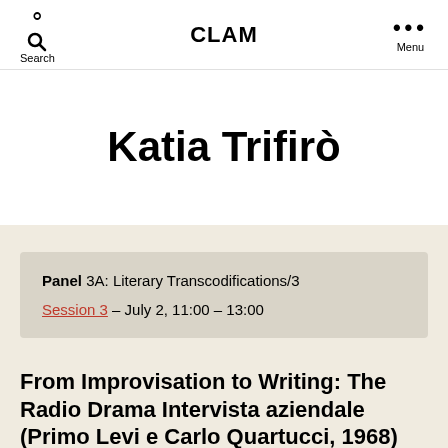Search  CLAM  Menu
Katia Trifirò
Panel 3A: Literary Transcodifications/3
Session 3 – July 2, 11:00 – 13:00
From Improvisation to Writing: The Radio Drama Intervista aziendale (Primo Levi e Carlo Quartucci, 1968)